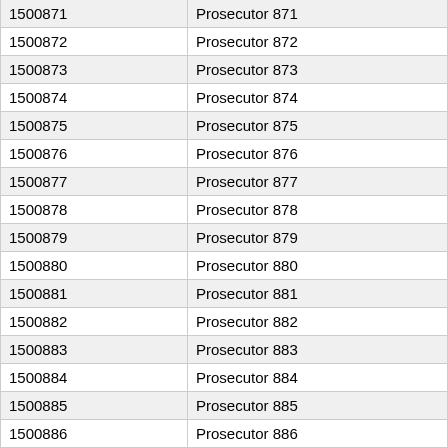| 1500871 | Prosecutor 871 |
| 1500872 | Prosecutor 872 |
| 1500873 | Prosecutor 873 |
| 1500874 | Prosecutor 874 |
| 1500875 | Prosecutor 875 |
| 1500876 | Prosecutor 876 |
| 1500877 | Prosecutor 877 |
| 1500878 | Prosecutor 878 |
| 1500879 | Prosecutor 879 |
| 1500880 | Prosecutor 880 |
| 1500881 | Prosecutor 881 |
| 1500882 | Prosecutor 882 |
| 1500883 | Prosecutor 883 |
| 1500884 | Prosecutor 884 |
| 1500885 | Prosecutor 885 |
| 1500886 | Prosecutor 886 |
| 1500887 | Prosecutor 887 |
| 1500888 | Prosecutor 888 |
| 1500889 | Prosecutor 889 |
| 1500890 | Prosecutor 890 |
| 1500891 | Prosecutor 891 |
| 1500892 | Prosecutor 892 |
| 1500893 | Prosecutor 893 |
| 1500894 | Prosecutor 894 |
| 1500895 | Prosecutor 895 |